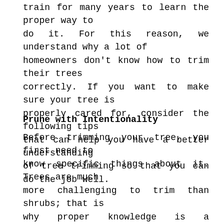train for many years to learn the proper way to do it. For this reason, we understand why a lot of homeowners don't know how to trim their trees correctly. If you want to make sure your tree is properly cared for, consider the following tips that can help you have a better understanding of tree trimming so that you can do the job well.
Prune with Intentionality
Before trimming your tree, you first need to know specific things about it. Trees are much more challenging to trim than shrubs; that is why proper knowledge is a prerequisite. The first thing you have to identify is where the dead wood is and cut it. The rule of thumb is, cut a branch that is less than two inches in diameters. Be careful not to trim bigger branches because you may cause damage to the health of the tree without knowing it. You have to know all